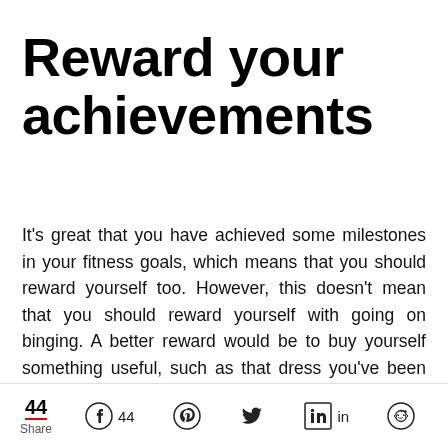Reward your achievements
It's great that you have achieved some milestones in your fitness goals, which means that you should reward yourself too. However, this doesn't mean that you should reward yourself with going on binging. A better reward would be to buy yourself something useful, such as that dress you've been eyeing for some time now, or that power tool you've been dying
44 Share  44  in